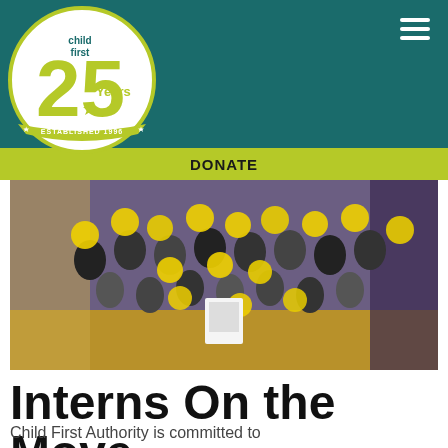[Figure (logo): Child First 25 Years Established 1996 circular logo with green and yellow colors]
DONATE
[Figure (photo): Group of children and adults holding yellow balloons in a gymnasium/school hall, wearing school uniforms]
Interns On the Move
Child First Authority is committed to